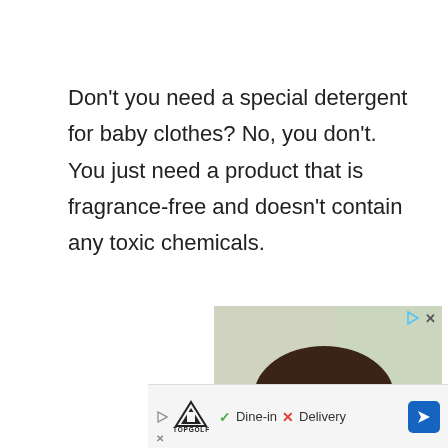Don't you need a special detergent for baby clothes? No, you don't. You just need a product that is fragrance-free and doesn't contain any toxic chemicals.
[Figure (photo): Advertisement image showing a dark brown puppy with a red collar sniffing or eating something, with a blurred background. Ad close/play controls visible in top right corner. A pink button partially visible on the right edge.]
[Figure (infographic): Bottom ad bar for Topgolf showing logo, checkmark Dine-in, X Delivery text, and a blue navigation arrow icon.]